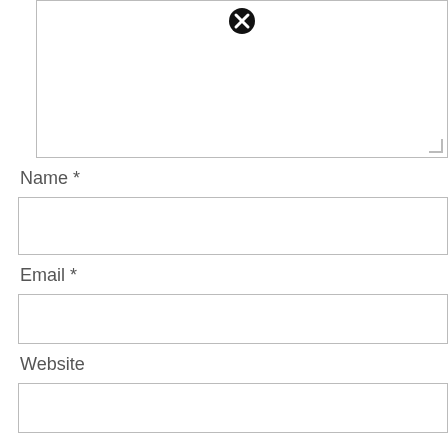[Figure (screenshot): Text area input box with close (X) icon at top center and resize handle at bottom right]
Name *
[Figure (screenshot): Name input field (empty text box)]
Email *
[Figure (screenshot): Email input field (empty text box)]
Website
[Figure (screenshot): Website input field (empty text box)]
Save my name, email, and website in this browser for the next time I comment.
[Figure (screenshot): Teal/cyan submit button at bottom left, close (X) icon at bottom center, and scroll-to-top arrow button at bottom right]